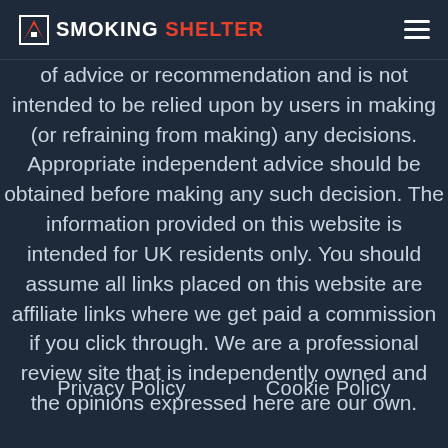SMOKING SHELTER
of advice or recommendation and is not intended to be relied upon by users in making (or refraining from making) any decisions. Appropriate independent advice should be obtained before making any such decision. The information provided on this website is intended for UK residents only. You should assume all links placed on this website are affiliate links where we get paid a commission if you click through. We are a professional review site that is independently owned and the opinions expressed here are our own.
Privacy Policy   Cookie Policy